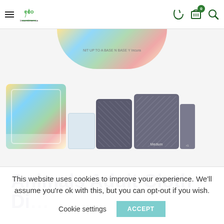eco Incontinence — navigation header with hamburger menu, logo, phone, cart (0), search icons
[Figure (photo): Product images of Animals Adult Cloth Diaper — colorful animals print diaper on left, white and dark speckled cloth diaper inserts in center, two dark speckled diapers labeled 'Medium' on right, partial circular pattern image at top]
Animals Adult Cloth Di...
This website uses cookies to improve your experience. We'll assume you're ok with this, but you can opt-out if you wish.
Cookie settings   ACCEPT